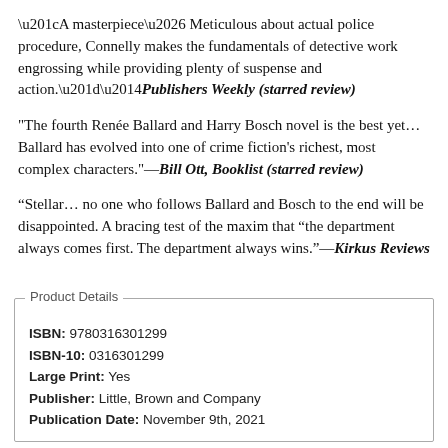“A masterpiece… Meticulous about actual police procedure, Connelly makes the fundamentals of detective work engrossing while providing plenty of suspense and action.”—Publishers Weekly (starred review)
"The fourth Renée Ballard and Harry Bosch novel is the best yet… Ballard has evolved into one of crime fiction's richest, most complex characters."—Bill Ott, Booklist (starred review)
“Stellar… no one who follows Ballard and Bosch to the end will be disappointed. A bracing test of the maxim that “the department always comes first. The department always wins.”—Kirkus Reviews
| Field | Value |
| --- | --- |
| ISBN | 9780316301299 |
| ISBN-10 | 0316301299 |
| Large Print | Yes |
| Publisher | Little, Brown and Company |
| Publication Date | November 9th, 2021 |